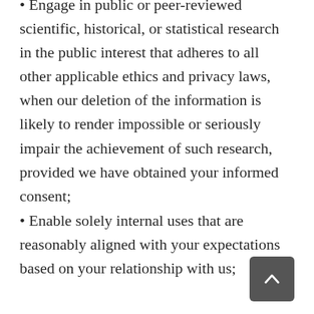• Engage in public or peer-reviewed scientific, historical, or statistical research in the public interest that adheres to all other applicable ethics and privacy laws, when our deletion of the information is likely to render impossible or seriously impair the achievement of such research, provided we have obtained your informed consent;
• Enable solely internal uses that are reasonably aligned with your expectations based on your relationship with us;